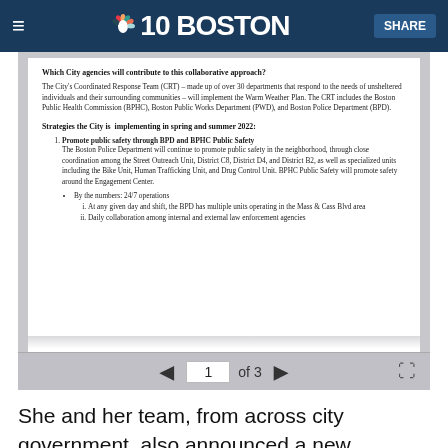NBC10 Boston — SHARE
[Figure (screenshot): Document viewer showing City of Boston Warm Weather Plan policy document page 1 of 3, with navigation controls]
Which City agencies will contribute to this collaborative approach?
The City's Coordinated Response Team (CRT) – made up of over 30 departments that respond to the needs of unsheltered individuals and their surrounding communities – will implement the Warm Weather Plan. The CRT includes the Boston Public Health Commission (BPHC), Boston Public Works Department (PWD), and Boston Police Department (BPD).
Strategies the City is implementing in spring and summer 2022:
Promote public safety through BPD and BPHC Public Safety — The Boston Police Department will continue to promote public safety in the neighborhood, through close coordination among the Street Outreach Unit, District C8, District D4, and District B2, as well as specialized units including the Bike Unit, Human Trafficking Unit, and Drug Control Unit. BPHC Public Safety will promote safety around the Engagement Center.
By the numbers: 24/7 operations
i. At any given day and shift, the BPD has multiple units operating in the Mass & Cass Blvd area
ii. Daily collaboration among internal and external law enforcement agencies
She and her team, from across city government, also announced a new strategy for dealing with homelessness in the city: